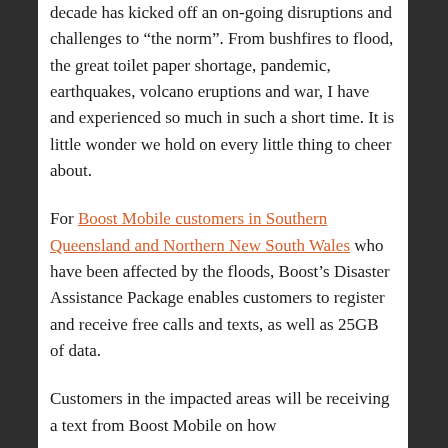decade has kicked off an on-going disruptions and challenges to “the norm”. From bushfires to flood, the great toilet paper shortage, pandemic, earthquakes, volcano eruptions and war, I have and experienced so much in such a short time. It is little wonder we hold on every little thing to cheer about.
For Boost Mobile customers in Southern Queensland and Northern New South Wales who have been affected by the floods, Boost’s Disaster Assistance Package enables customers to register and receive free calls and texts, as well as 25GB of data.
Customers in the impacted areas will be receiving a text from Boost Mobile on how to apply for the assistance package and...